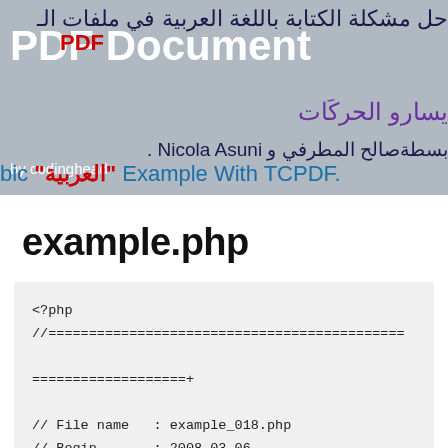[Figure (screenshot): Banner image showing a PDF document with Arabic text and overlaid white bold text reading 'PDF Document', with subtitle 'by codinghead' and Arabic example text with TCPDF reference]
example.php
<?php
//============================================================+
// File name   : example_018.php
// Begin       : 2008-03-06
// Last Update : 2013-05-14